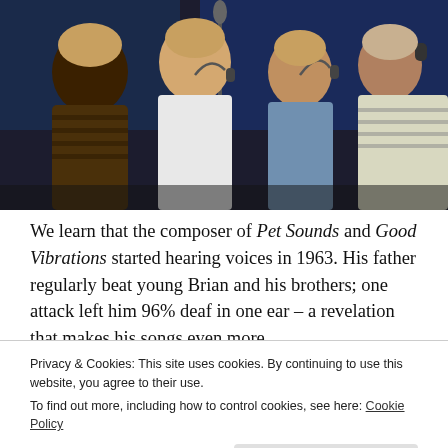[Figure (photo): Four young men in a recording studio, wearing headphones, standing around a microphone. Blue studio lighting in the background.]
We learn that the composer of Pet Sounds and Good Vibrations started hearing voices in 1963. His father regularly beat young Brian and his brothers; one attack left him 96% deaf in one ear – a revelation that makes his songs even more
Privacy & Cookies: This site uses cookies. By continuing to use this website, you agree to their use.
To find out more, including how to control cookies, see here: Cookie Policy
God Only Knows. It is beautiful. Then the camera moves to